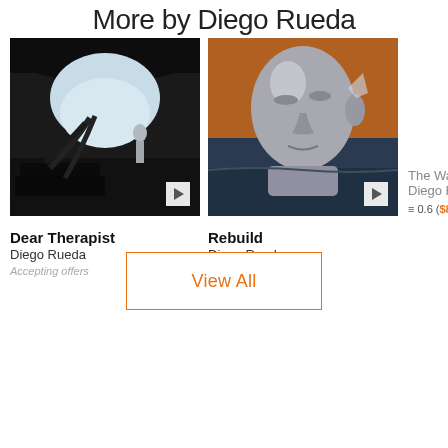More by Diego Rueda
[Figure (photo): Dark cinematic scene with a figure standing by a car door, black and white/moody tones, with a video play button overlay. Title: Dear Therapist]
Dear Therapist
Diego Rueda
Accepting offers   1 of 1
[Figure (photo): A metallic silver human face/head partially submerged in water with orange/sunset background, video play button overlay. Title: Rebuild]
Rebuild
Diego Rueda
≡ 0.5 ($747.12)  1 of 1
The Wal... Diego Ru... ≡ 0.6 ($896...
View All